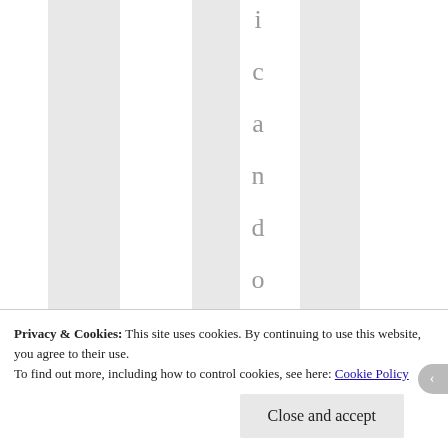[Figure (other): Webpage screenshot showing vertical striped column layout with a large rotated/vertical text reading 'c a n d o l a y o u t' in the center column, gray and white alternating vertical stripes in the background.]
Privacy & Cookies: This site uses cookies. By continuing to use this website, you agree to their use.
To find out more, including how to control cookies, see here: Cookie Policy
Close and accept